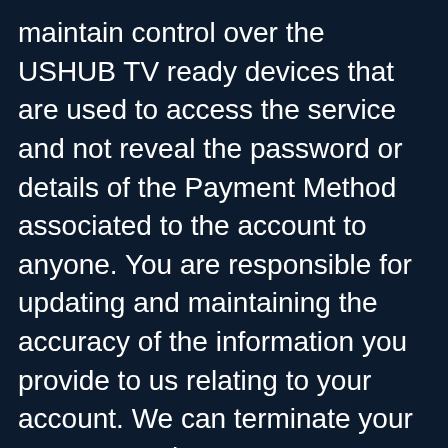maintain control over the USHUB TV ready devices that are used to access the service and not reveal the password or details of the Payment Method associated to the account to anyone. You are responsible for updating and maintaining the accuracy of the information you provide to us relating to your account. We can terminate your account or place your account on hold in order to protect you, USHUB TV or our partners from identity theft or other fraudulent activity. USHUB TV is not obligated to credit or discount a membership for holds placed on the account by either a representative of USHUB TV